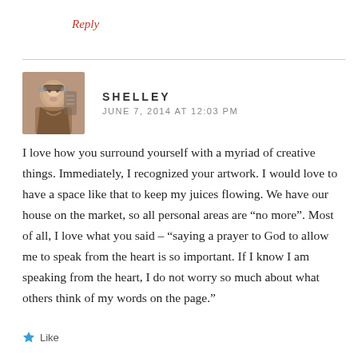Reply
[Figure (photo): Avatar photo of Shelley, a woman with glasses]
SHELLEY
JUNE 7, 2014 AT 12:03 PM
I love how you surround yourself with a myriad of creative things. Immediately, I recognized your artwork. I would love to have a space like that to keep my juices flowing. We have our house on the market, so all personal areas are “no more”. Most of all, I love what you said – “saying a prayer to God to allow me to speak from the heart is so important. If I know I am speaking from the heart, I do not worry so much about what others think of my words on the page.”
Like